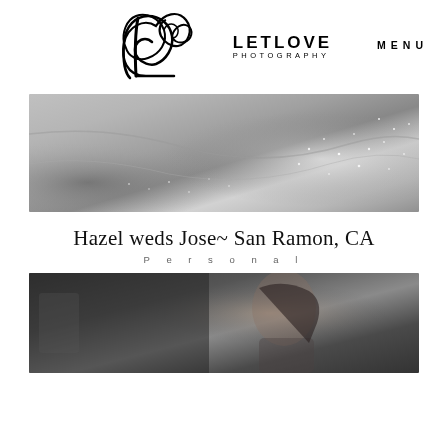[Figure (logo): LetLove Photography logo with decorative heart/letter L swirl design in black, with text LETLOVE PHOTOGRAPHY]
MENU
[Figure (photo): Black and white close-up photo of a wedding dress with beaded/embellished details and draped fabric]
Hazel weds Jose~ San Ramon, CA
Personal
[Figure (photo): Black and white photo of a woman, partial view, appearing to be getting ready]